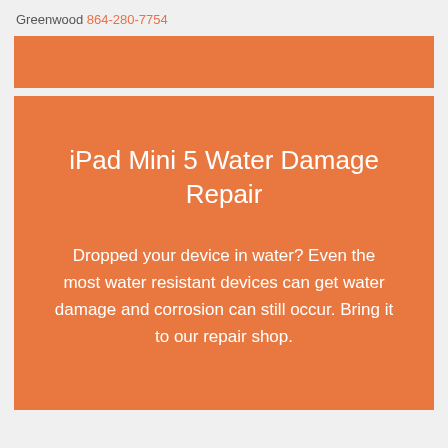Greenwood 864-280-7754
iPad Mini 5 Water Damage Repair
Dropped your device in water? Even the most water resistant devices can get water damage and corrosion can still occur. Bring it to our repair shop.